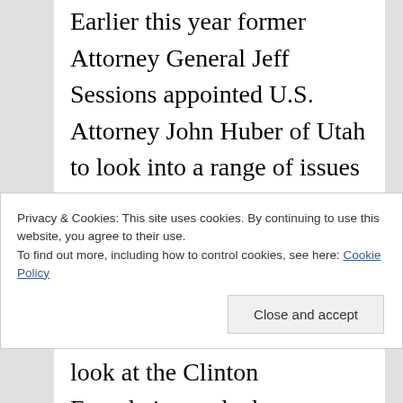Earlier this year former Attorney General Jeff Sessions appointed U.S. Attorney John Huber of Utah to look into a range of issues related to the Clintons, including the FBI's investigation into her transmission of classified materials over an unsecured private email server and donations to and activities of the foundation.
Meadows said it was time for Huber to “circle around” and provide Congress with
Privacy & Cookies: This site uses cookies. By continuing to use this website, you agree to their use.
To find out more, including how to control cookies, see here: Cookie Policy
look at the Clinton Foundation and what may